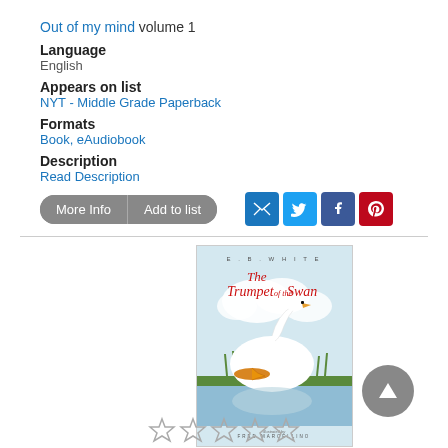Out of my mind volume 1
Language
English
Appears on list
NYT - Middle Grade Paperback
Formats
Book, eAudiobook
Description
Read Description
[Figure (illustration): Book cover of 'The Trumpet of the Swan' by E.B. White, illustrated by Fred Marcellino, showing a swan with a trumpet near water]
[Figure (other): Star rating row (empty stars)]